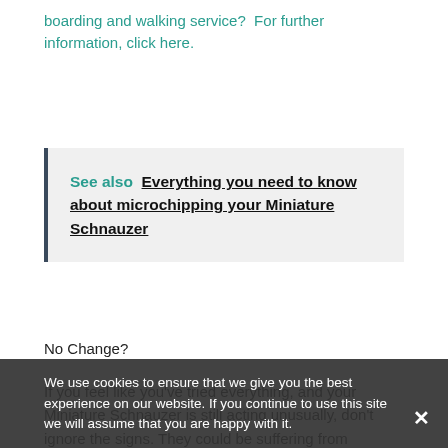boarding and walking service?  For further information, click here.
See also  Everything you need to know about microchipping your Miniature Schnauzer
No Change?
If you feel like you've tried everything, and your Miniature Schnauzer is still acting unusually, don't ignore the signs. They could be suffering from separation anxiety, so it's best to seek help.
Don't worry, there are many ways to reduce your dog
We use cookies to ensure that we give you the best experience on our website. If you continue to use this site we will assume that you are happy with it.